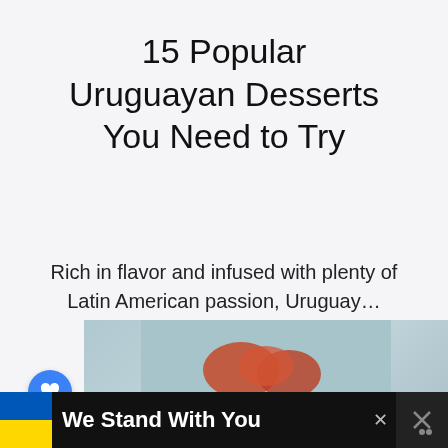15 Popular Uruguayan Desserts You Need to Try
Rich in flavor and infused with plenty of Latin American passion, Uruguay…
Read More
[Figure (photo): Social share/love buttons on left side; blue heart button and white share button]
[Figure (photo): Partial image preview of food/dessert with reddish/orange elements on a grey-blue background]
We Stand With You